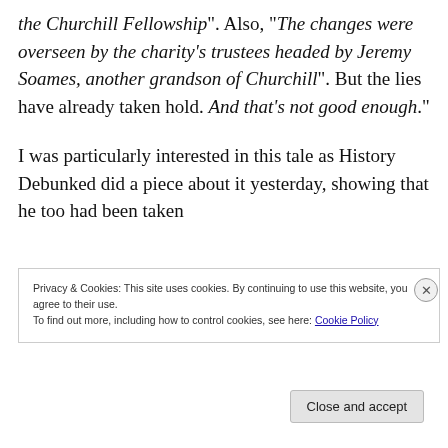the Churchill Fellowship". Also, "The changes were overseen by the charity's trustees headed by Jeremy Soames, another grandson of Churchill". But the lies have already taken hold. And that's not good enough." 

I was particularly interested in this tale as History Debunked did a piece about it yesterday, showing that he too had been taken
Privacy & Cookies: This site uses cookies. By continuing to use this website, you agree to their use.
To find out more, including how to control cookies, see here: Cookie Policy
Close and accept